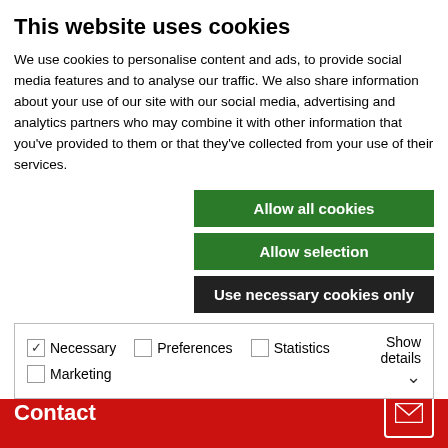This website uses cookies
We use cookies to personalise content and ads, to provide social media features and to analyse our traffic. We also share information about your use of our site with our social media, advertising and analytics partners who may combine it with other information that you've provided to them or that they've collected from your use of their services.
Allow all cookies
Allow selection
Use necessary cookies only
Necessary  Preferences  Statistics  Marketing  Show details
Request a call back
Ask a Question about this product
Contact